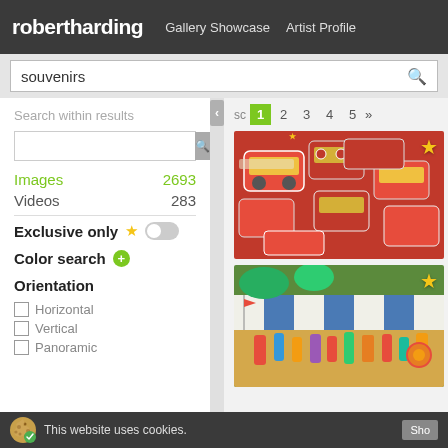robertharding  Gallery Showcase  Artist Profile
souvenirs
Search within results
Images  2693
Videos  283
Exclusive only
Color search
Orientation
Horizontal
Vertical
Panoramic
[Figure (photo): Pile of red London souvenir double-decker bus magnets/toys]
[Figure (photo): Colorful souvenir market stall with flags and items hanging under striped awning]
This website uses cookies.